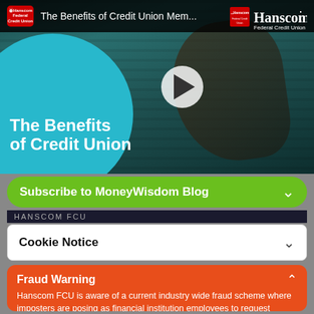[Figure (screenshot): YouTube video thumbnail showing woman with windblown hair against teal/dark background, with video title 'The Benefits of Credit Union Mem...' in the top bar and Hanscom FCU logo. A play button is visible. A teal circle overlay shows text 'The Benefits of Credit Union']
Subscribe to MoneyWisdom Blog
Cookie Notice
Fraud Warning
Hanscom FCU is aware of a current industry wide fraud scheme where imposters are posing as financial institution employees to request personal information and a generated 'secure access code'.  We will NEVER ask you for this secure access code.  If you believe you have been impacted by this current scheme, please contact us at 1-800-656-4328
DISMISS